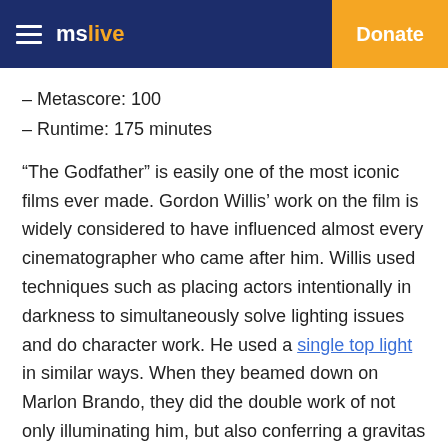mslive | Donate
– Metascore: 100
– Runtime: 175 minutes
“The Godfather” is easily one of the most iconic films ever made. Gordon Willis’ work on the film is widely considered to have influenced almost every cinematographer who came after him. Willis used techniques such as placing actors intentionally in darkness to simultaneously solve lighting issues and do character work. He used a single top light in similar ways. When they beamed down on Marlon Brando, they did the double work of not only illuminating him, but also conferring a gravitas upon